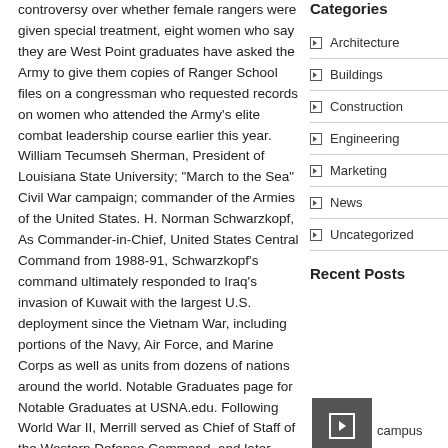controversy over whether female rangers were given special treatment, eight women who say they are West Point graduates have asked the Army to give them copies of Ranger School files on a congressman who requested records on women who attended the Army's elite combat leadership course earlier this year. William Tecumseh Sherman, President of Louisiana State University; "March to the Sea" Civil War campaign; commander of the Armies of the United States. H. Norman Schwarzkopf, As Commander-in-Chief, United States Central Command from 1988-91, Schwarzkopf's command ultimately responded to Iraq's invasion of Kuwait with the largest U.S. deployment since the Vietnam War, including portions of the Navy, Air Force, and Marine Corps as well as units from dozens of nations around the world. Notable Graduates page for Notable Graduates at USNA.edu. Following World War II, Merrill served as Chief of Staff of the Western Defense Command, and later served as Chief of Staff and as Commander of the 6th Army. Edwin E. "Buzz" Aldrin, August 1930, To the...
Categories
Architecture
Buildings
Construction
Engineering
Marketing
News
Uncategorized
Recent Posts